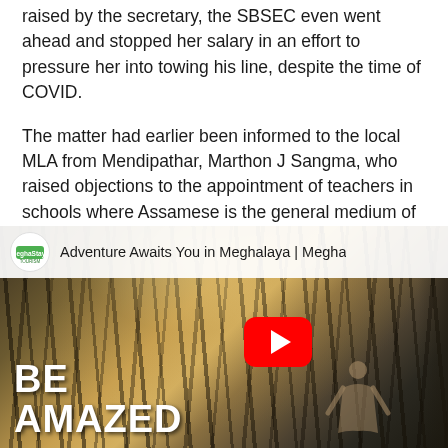raised by the secretary, the SBSEC even went ahead and stopped her salary in an effort to pressure her into towing his line, despite the time of COVID.
The matter had earlier been informed to the local MLA from Mendipathar, Marthon J Sangma, who raised objections to the appointment of teachers in schools where Assamese is the general medium of teaching.
[Figure (screenshot): YouTube video thumbnail showing a forest/bamboo bridge scene in Meghalaya with the title 'Adventure Awaits You in Meghalaya | Megha...' A red YouTube play button is visible in the center-right. The text 'BE AMAZED' appears in large white bold letters at the bottom left. The MeghaStays Tourism channel icon is shown in the top-left header bar.]